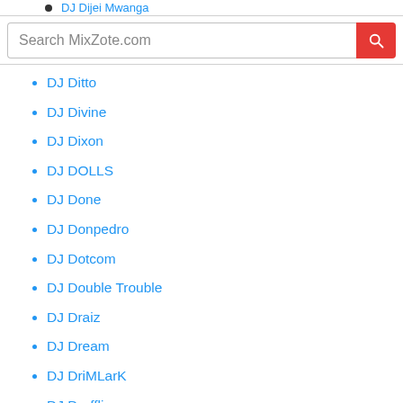DJ Dijei Mwanga
DJ Ditto
DJ Divine
DJ Dixon
DJ DOLLS
DJ Done
DJ Donpedro
DJ Dotcom
DJ Double Trouble
DJ Draiz
DJ Dream
DJ DriMLarK
DJ Drofflic
Dj Drop G
DJ Duke 254